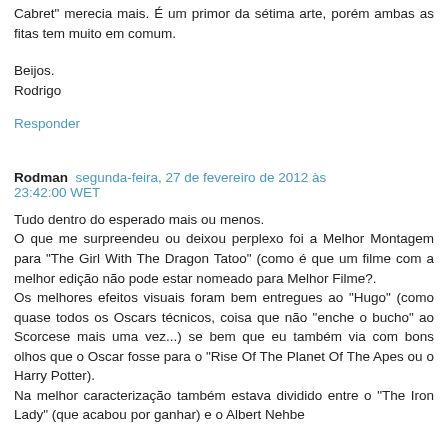Cabret" merecia mais. É um primor da sétima arte, porém ambas as fitas tem muito em comum.
Beijos.
Rodrigo
Responder
Rodman  segunda-feira, 27 de fevereiro de 2012 às 23:42:00 WET
Tudo dentro do esperado mais ou menos.
O que me surpreendeu ou deixou perplexo foi a Melhor Montagem para "The Girl With The Dragon Tatoo" (como é que um filme com a melhor edição não pode estar nomeado para Melhor Filme?.
Os melhores efeitos visuais foram bem entregues ao "Hugo" (como quase todos os Oscars técnicos, coisa que não "enche o bucho" ao Scorcese mais uma vez...) se bem que eu também via com bons olhos que o Oscar fosse para o "Rise Of The Planet Of The Apes ou o Harry Potter).
Na melhor caracterização também estava dividido entre o "The Iron Lady" (que acabou por ganhar) e o Albert Nehbe